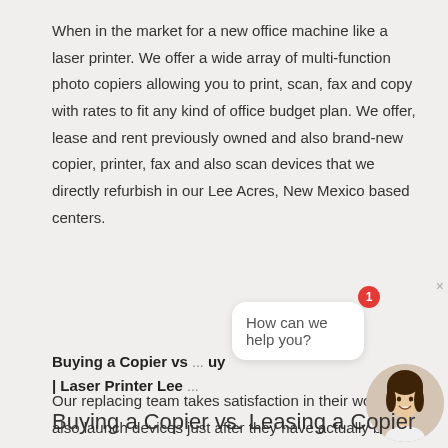When in the market for a new office machine like a laser printer. We offer a wide array of multi-function photo copiers allowing you to print, scan, fax and copy with rates to fit any kind of office budget plan. We offer, lease and rent previously owned and also brand-new copier, printer, fax and also scan devices that we directly refurbish in our Lee Acres, New Mexico based centers.
Our replacing team takes satisfaction in their work and also launch devices just after they have actually been inspected, fixed and checked to fulfill our extremely high quality requirements. We after that back our equipment with the lengthiest as well as most detailed service warranty in New Mexico.
Please contact us so we can discuss your goals and requires when it concerns your copier, faxing, printer and scanning requirements.
Buying a Copier vs ... uy | Laser Printer Lee ...
Buying a Copier vs. Leasing a Copier
[Figure (illustration): Chat widget overlay with notification badge showing '1', a chat bubble saying 'How can we help you?', a close button (×), and a circular avatar photo of a smiling woman.]